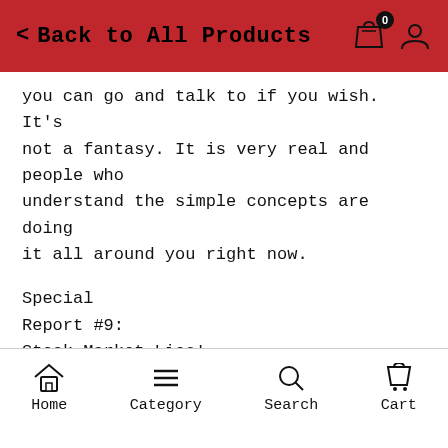Back to All Products
you can go and talk to if you wish. It's not a fantasy. It is very real and people who understand the simple concepts are doing it all around you right now.
Special
Report #9:
Stock Market Lies!
Find
out what your broker, investor, your mutual funds and your 401(k) manager hope you never find out!
Home  Category  Search  Cart